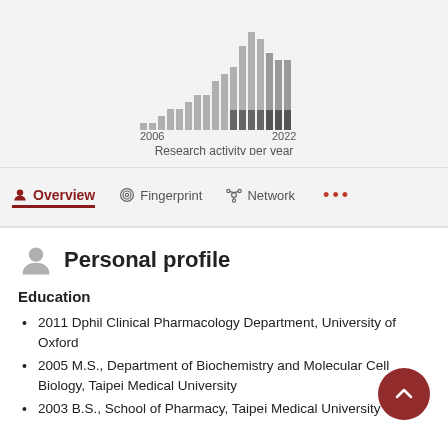[Figure (histogram): Research activity per year]
Overview | Fingerprint | Network | ...
Personal profile
Education
2011 Dphil Clinical Pharmacology Department, University of Oxford
2005 M.S., Department of Biochemistry and Molecular Cell Biology, Taipei Medical University
2003 B.S., School of Pharmacy, Taipei Medical University